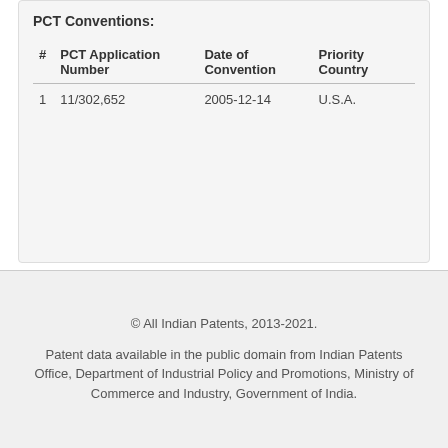PCT Conventions:
| # | PCT Application Number | Date of Convention | Priority Country |
| --- | --- | --- | --- |
| 1 | 11/302,652 | 2005-12-14 | U.S.A. |
© All Indian Patents, 2013-2021.
Patent data available in the public domain from Indian Patents Office, Department of Industrial Policy and Promotions, Ministry of Commerce and Industry, Government of India.